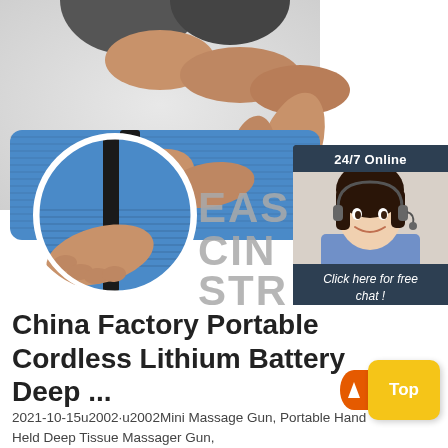[Figure (photo): Product image showing a person rolling/strapping a blue exercise/yoga mat. A circular inset zooms in on the hand fastening the strap. Partially visible text reads EAS CIN STR (Easy Cinch Strap or similar).]
[Figure (infographic): 24/7 Online chat widget with a smiling female customer service agent wearing a headset, and an orange QUOTATION button with 'Click here for free chat!' text.]
China Factory Portable Cordless Lithium Battery Deep ...
2021-10-15u2002·u2002Mini Massage Gun, Portable Hand Held Deep Tissue Massager Gun, Pocket Sized Body Muscle Massager U3A M...